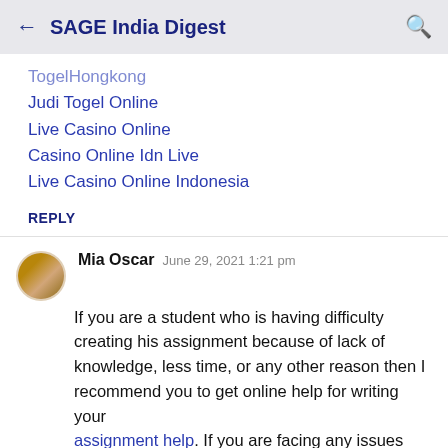← SAGE India Digest 🔍
TogelHongkong
Judi Togel Online
Live Casino Online
Casino Online Idn Live
Live Casino Online Indonesia
REPLY
Mia Oscar   June 29, 2021 1:21 pm
If you are a student who is having difficulty creating his assignment because of lack of knowledge, less time, or any other reason then I recommend you to get online help for writing your assignment help. If you are facing any issues then contact me. I am available for you 24-7.
REPLY